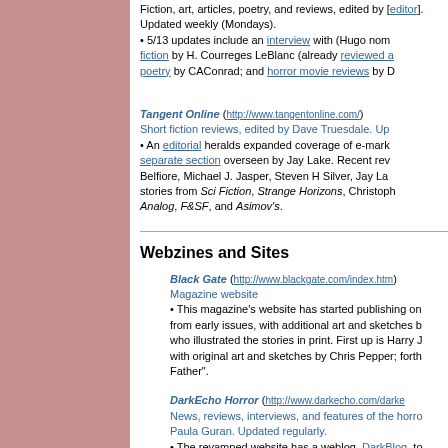Fiction, art, articles, poetry, and reviews, edited by [editor]. Updated weekly (Mondays). • 5/13 updates include an interview with (Hugo nom... fiction by H. Courreges LeBlanc (already reviewed a... poetry by CAConrad; and horror movie reviews by D...
Tangent Online (http://www.tangentonline.com/) Short fiction reviews, edited by Dave Truesdale. Up... • An editorial heralds expanded coverage of e-mark... separate section overseen by Jay Lake. Recent rev... Belfiore, Michael J. Jasper, Steven H Silver, Jay La... stories from Sci Fiction, Strange Horizons, Christoph... Analog, F&SF, and Asimov's.
Webzines and Sites
Black Gate (http://www.blackgate.com/index.htm) Magazine website • This magazine's website has started publishing on... from early issues, with additional art and sketches b... who illustrated the stories in print. First up is Harry J... with original art and sketches by Chris Pepper; forth... Father".
DarkEcho Horror (http://www.darkecho.com/darke... News, reviews, interviews, and features of the horro... Paula Guran. Updated regularly. • The revamped website has a weblog, DarkBlog, to...